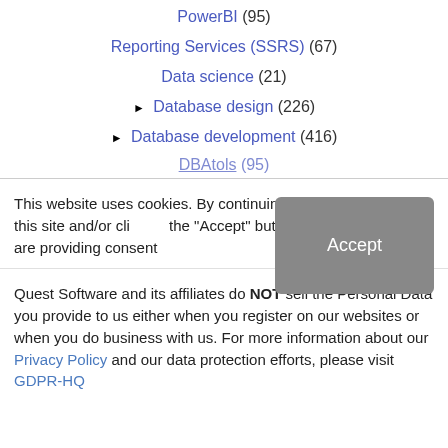PowerBI (95)
Reporting Services (SSRS) (67)
Data science (21)
► Database design (226)
► Database development (416)
DBAtols (95) [partially visible]
This website uses cookies. By continuing to use this site and/or clicking the "Accept" button you are providing consent
Quest Software and its affiliates do NOT sell the Personal Data you provide to us either when you register on our websites or when you do business with us. For more information about our Privacy Policy and our data protection efforts, please visit GDPR-HQ